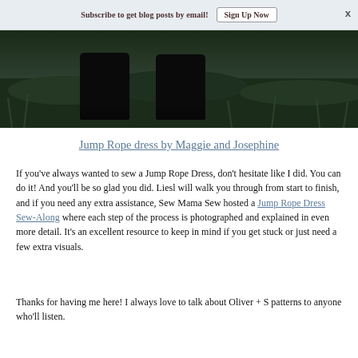Subscribe to get blog posts by email! Sign Up Now
[Figure (photo): Dark silhouette photo showing feet/shoes in grass, cropped at top of page]
Jump Rope dress by Maggie and Josephine
If you've always wanted to sew a Jump Rope Dress, don't hesitate like I did. You can do it! And you'll be so glad you did. Liesl will walk you through from start to finish, and if you need any extra assistance, Sew Mama Sew hosted a Jump Rope Dress Sew-Along where each step of the process is photographed and explained in even more detail. It's an excellent resource to keep in mind if you get stuck or just need a few extra visuals.
Thanks for having me here! I always love to talk about Oliver + S patterns to anyone who'll listen.